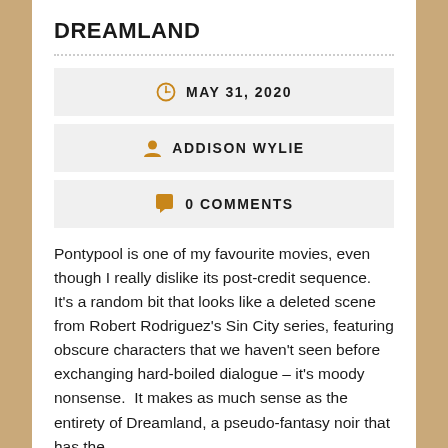DREAMLAND
MAY 31, 2020
ADDISON WYLIE
0 COMMENTS
Pontypool is one of my favourite movies, even though I really dislike its post-credit sequence.  It’s a random bit that looks like a deleted scene from Robert Rodriguez’s Sin City series, featuring obscure characters that we haven’t seen before exchanging hard-boiled dialogue – it’s moody nonsense.  It makes as much sense as the entirety of Dreamland, a pseudo-fantasy noir that has the